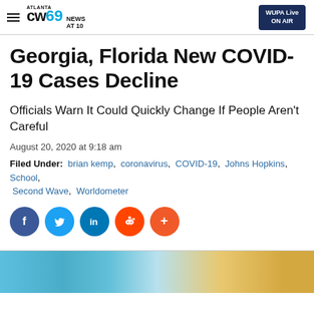ATLANTA CW69 NEWS AT 10 | WUPA Live ON AIR
Georgia, Florida New COVID-19 Cases Decline
Officials Warn It Could Quickly Change If People Aren't Careful
August 20, 2020 at 9:18 am
Filed Under: brian kemp, coronavirus, COVID-19, Johns Hopkins, School, Second Wave, Worldometer
[Figure (infographic): Social media share buttons: Facebook, Twitter, LinkedIn, Reddit, More (+)]
[Figure (photo): Photo of a blue-gloved hand, likely related to COVID-19 testing]